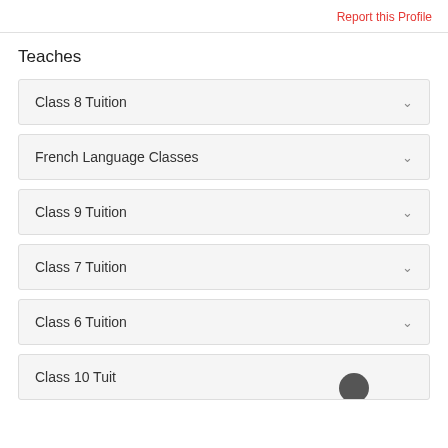Report this Profile
Teaches
Class 8 Tuition
French Language Classes
Class 9 Tuition
Class 7 Tuition
Class 6 Tuition
Class 10 Tuition